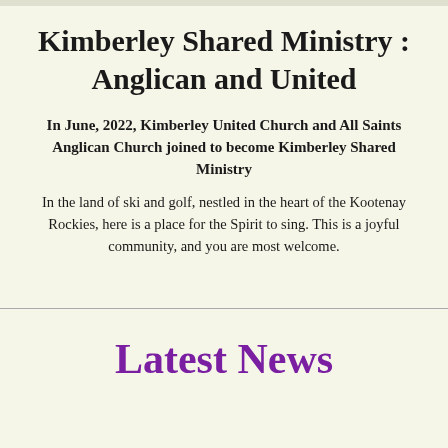Kimberley Shared Ministry : Anglican and United
In June, 2022, Kimberley United Church and All Saints Anglican Church joined to become Kimberley Shared Ministry
In the land of ski and golf, nestled in the heart of the Kootenay Rockies, here is a place for the Spirit to sing. This is a joyful community, and you are most welcome.
Latest News